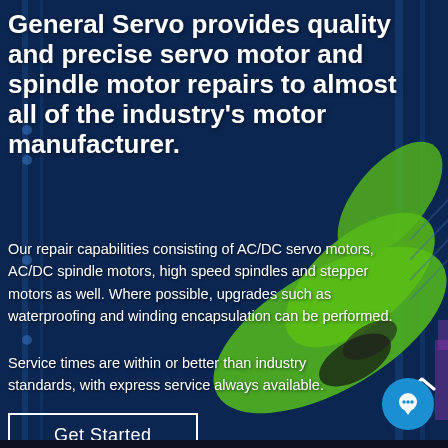[Figure (photo): Dark blue-tinted industrial background showing a green robotic arm/servo motor mechanism in a factory setting]
General Servo provides quality and precise servo motor and spindle motor repairs to almost all of the industry's motor manufacturer.
Our repair capabilities consisting of AC/DC servo motors, AC/DC spindle motors, high speed spindles and stepper motors as well. Where possible, upgrades such as waterproofing and winding encapsulation can be performed.
Service times are within or better than industry standards, with express service always available.
Get Started